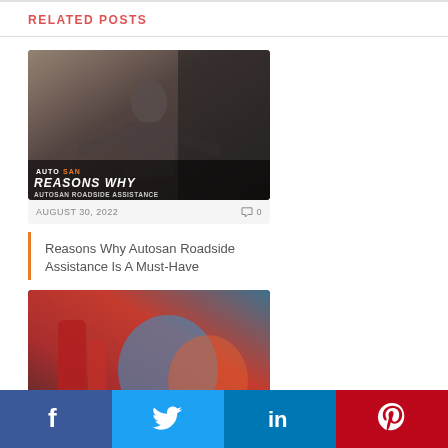RELATED POSTS
[Figure (photo): Woman with arms spread open near a car with Autosan Roadside Assistance branding overlay]
AUGUST 30, 2022   0
Reasons Why Autosan Roadside Assistance Is A Must-Have
[Figure (photo): Gas pump nozzles with overlay text reading CRUCIAL PARTS FOR BETTER GAS CONSUMPTION]
AUGUST 1...
Crucial P...